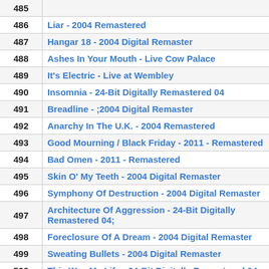| # | Title |
| --- | --- |
| 485 |  |
| 486 | Liar - 2004 Remastered |
| 487 | Hangar 18 - 2004 Digital Remaster |
| 488 | Ashes In Your Mouth - Live Cow Palace |
| 489 | It's Electric - Live at Wembley |
| 490 | Insomnia - 24-Bit Digitally Remastered 04 |
| 491 | Breadline - ;2004 Digital Remaster |
| 492 | Anarchy In The U.K. - 2004 Remastered |
| 493 | Good Mourning / Black Friday - 2011 - Remastered |
| 494 | Bad Omen - 2011 - Remastered |
| 495 | Skin O' My Teeth - 2004 Digital Remaster |
| 496 | Symphony Of Destruction - 2004 Digital Remaster |
| 497 | Architecture Of Aggression - 24-Bit Digitally Remastered 04; |
| 498 | Foreclosure Of A Dream - 2004 Digital Remaster |
| 499 | Sweating Bullets - 2004 Digital Remaster |
| 500 | This Was My Life - 24-Bit Digitally Remastered 04; |
| 501 | Countdown To Extinction - 2004 Digital Remaster |